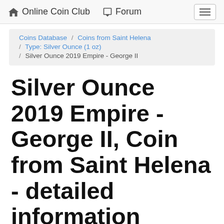Online Coin Club   Forum
Coins Database / Coins from Saint Helena / Type: Silver Ounce (1 oz) / Silver Ounce 2019 Empire - George II
Silver Ounce 2019 Empire - George II, Coin from Saint Helena - detailed information
Silver Ounce 2019 Empire - George II, Coin from Saint Helena